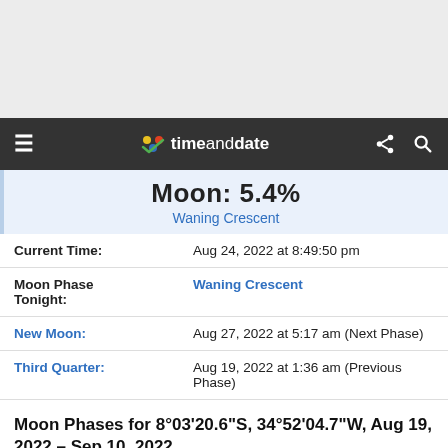[Figure (screenshot): Gray banner/ad space at top of page]
timeanddate — navigation bar with hamburger menu, logo, share and search icons
Moon: 5.4%
Waning Crescent
| Label | Value |
| --- | --- |
| Current Time: | Aug 24, 2022 at 8:49:50 pm |
| Moon Phase Tonight: | Waning Crescent |
| New Moon: | Aug 27, 2022 at 5:17 am (Next Phase) |
| Third Quarter: | Aug 19, 2022 at 1:36 am (Previous Phase) |
Moon Phases for 8°03'20.6"S, 34°52'04.7"W, Aug 19, 2022 – Sep 10, 2022